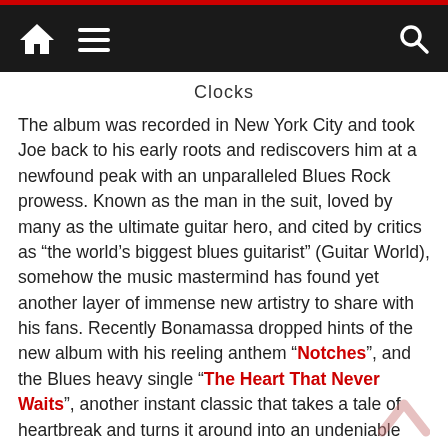Navigation bar with home, menu, and search icons
Clocks
The album was recorded in New York City and took Joe back to his early roots and rediscovers him at a newfound peak with an unparalleled Blues Rock prowess. Known as the man in the suit, loved by many as the ultimate guitar hero, and cited by critics as “the world’s biggest blues guitarist” (Guitar World), somehow the music mastermind has found yet another layer of immense new artistry to share with his fans. Recently Bonamassa dropped hints of the new album with his reeling anthem “Notches”, and the Blues heavy single “The Heart That Never Waits”, another instant classic that takes a tale of heartbreak and turns it around into an undeniable showstopper meant for the stadiums